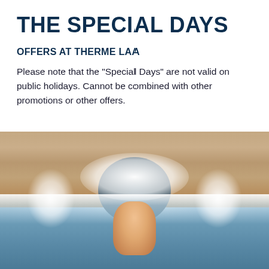THE SPECIAL DAYS
OFFERS AT THERME LAA
Please note that the "Special Days" are not valid on public holidays. Cannot be combined with other promotions or other offers.
[Figure (photo): Person with arms raised in excitement coming through a water slide tunnel, with water splashing all around them in a stone-tiled spa/thermal bath setting]